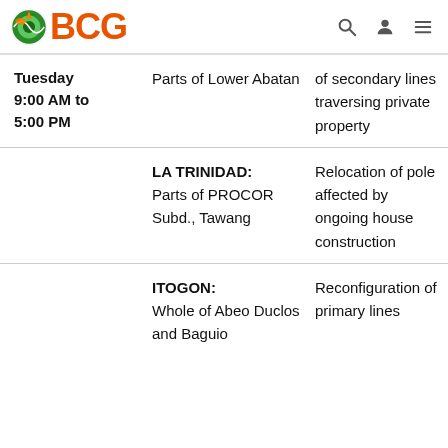BCG
| Day/Time | Location | Reason |
| --- | --- | --- |
| Tuesday 9:00 AM to 5:00 PM | Parts of Lower Abatan | of secondary lines traversing private property |
|  | LA TRINIDAD: Parts of PROCOR Subd., Tawang | Relocation of pole affected by ongoing house construction |
|  | ITOGON: Whole of Abeo Duclos and Baguio | Reconfiguration of primary lines |